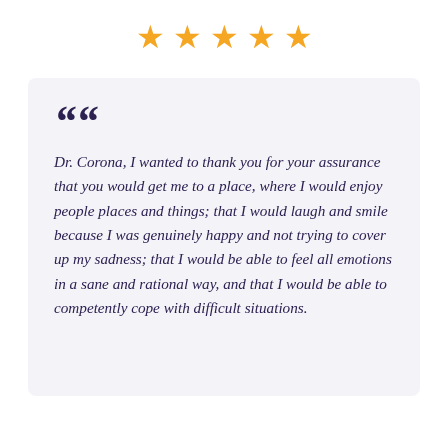[Figure (other): Five gold/orange star rating icons in a row]
Dr. Corona, I wanted to thank you for your assurance that you would get me to a place, where I would enjoy people places and things; that I would laugh and smile because I was genuinely happy and not trying to cover up my sadness; that I would be able to feel all emotions in a sane and rational way, and that I would be able to competently cope with difficult situations.